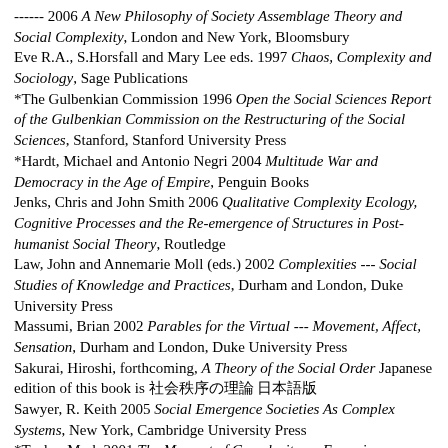------ 2006 A New Philosophy of Society Assemblage Theory and Social Complexity, London and New York, Bloomsbury
Eve R.A., S.Horsfall and Mary Lee eds. 1997 Chaos, Complexity and Sociology, Sage Publications
*The Gulbenkian Commission 1996 Open the Social Sciences Report of the Gulbenkian Commission on the Restructuring of the Social Sciences, Stanford, Stanford University Press
*Hardt, Michael and Antonio Negri 2004 Multitude War and Democracy in the Age of Empire, Penguin Books
Jenks, Chris and John Smith 2006 Qualitative Complexity Ecology, Cognitive Processes and the Re-emergence of Structures in Post-humanist Social Theory, Routledge
Law, John and Annemarie Moll (eds.) 2002 Complexities --- Social Studies of Knowledge and Practices, Durham and London, Duke University Press
Massumi, Brian 2002 Parables for the Virtual --- Movement, Affect, Sensation, Durham and London, Duke University Press
Sakurai, Hiroshi, forthcoming, A Theory of the Social Order Japanese edition of this book is 社会秩序の理論 日本語版
Sawyer, R. Keith 2005 Social Emergence Societies As Complex Systems, New York, Cambridge University Press
*Taylor, Mark 2001 The Moment of Complexity --- Emerging Network Culture, Chicago, The University of Chicago Press
*Urry, John 2003 Global Complexity, Cambridge, Polity Press
------ 2005 'The Complexity Turn' Theory, Culture and Society,